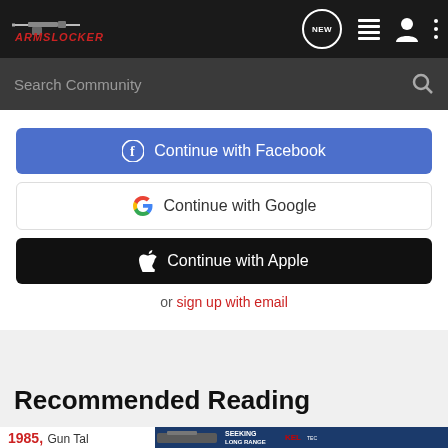ARMSLOCKER — navigation bar with logo, NEW button, list icon, user icon, menu dots
Search Community
[Figure (screenshot): Continue with Facebook button (blue)]
[Figure (screenshot): Continue with Google button (white with Google G logo)]
[Figure (screenshot): Continue with Apple button (black with Apple logo)]
or sign up with email
Recommended Reading
1985,
Gun Ta
[Figure (photo): Kel-Tec CP33 pistol advertisement: SEEKING LONG RANGE RELATIONSHIP, THE CP33 PISTOL]